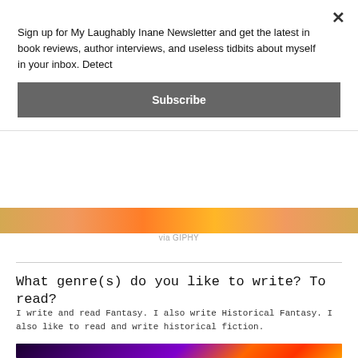Sign up for My Laughably Inane Newsletter and get the latest in book reviews, author interviews, and useless tidbits about myself in your inbox. Detect
Subscribe
[Figure (photo): Colorful animated GIF strip, partially visible, with warm orange/yellow tones — via GIPHY]
via GIPHY
What genre(s) do you like to write? To read?
I write and read Fantasy. I also write Historical Fantasy. I also like to read and write historical fiction.
[Figure (photo): Dark background image with purple and orange pixel-art style dragon/creature graphics]